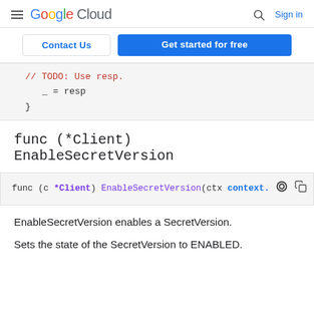Google Cloud  Sign in
[Figure (screenshot): Contact Us and Get started for free buttons]
// TODO: Use resp.
_ = resp
}
func (*Client) EnableSecretVersion
func (c *Client) EnableSecretVersion(ctx context.
EnableSecretVersion enables a SecretVersion.
Sets the state of the SecretVersion to ENABLED.